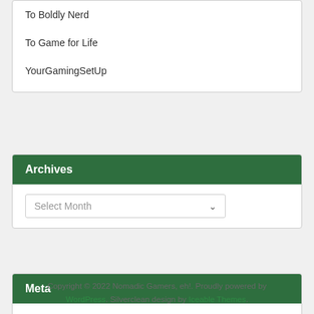To Boldly Nerd
To Game for Life
YourGamingSetUp
Archives
Select Month
Meta
Log in
Entries feed
Comments feed
WordPress.org
Copyright © 2022 Nomadic Gamers, eh!. Proudly powered by WordPress. Silverclean design by Iceable Themes.